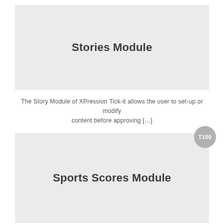[Figure (screenshot): Light grey card placeholder image with the text 'Stories Module' centered in bold dark sans-serif font]
The Story Module of XPression Tick-it allows the user to set-up or modify content before approving [...]
[Figure (screenshot): Light grey card placeholder image with the text 'Sports Scores Module' centered in bold dark sans-serif font, with a grey circular badge labeled T109 in the top-right corner]